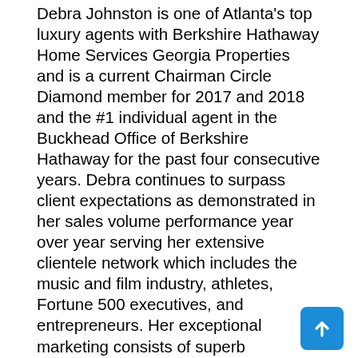Debra Johnston is one of Atlanta's top luxury agents with Berkshire Hathaway Home Services Georgia Properties and is a current Chairman Circle Diamond member for 2017 and 2018 and the #1 individual agent in the Buckhead Office of Berkshire Hathaway for the past four consecutive years. Debra continues to surpass client expectations as demonstrated in her sales volume performance year over year serving her extensive clientele network which includes the music and film industry, athletes, Fortune 500 executives, and entrepreneurs. Her exceptional marketing consists of superb photography and video production as well as a prominent internet exposure that translates into maximum exposure for her clients. She is known for her genuine enthusiasm for luxury real estate and for her excellent professionalism providing top customer service. With over sixteen years of experience in the luxury market, Debra is a leader in the real estate field and consistently delivers uncompromising professionalism and ultimately a positive experience for her clients. Representing clients from Los Angeles to New York to Miami, Debra continues to surpass the luxury real estate competition in Atlanta while delivering exceptional service